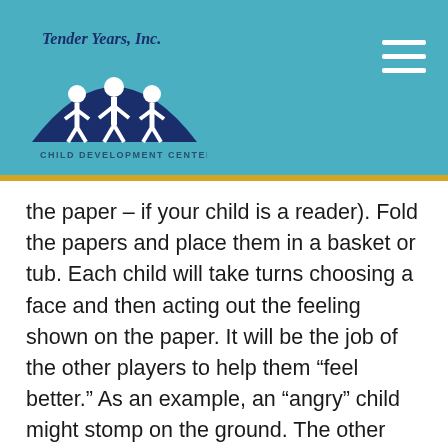[Figure (logo): Tender Years Inc. Child Development Center logo — dark blue arch with white figures of children and an adult, script text above, small all-caps text below]
the paper – if your child is a reader). Fold the papers and place them in a basket or tub. Each child will take turns choosing a face and then acting out the feeling shown on the paper. It will be the job of the other players to help them “feel better.” As an example, an “angry” child might stomp on the ground. The other players should ask questions like “Why are you angry? How can I help?” The “angry child can then give an explanation and the other players can offer a role-played solution. Perhaps give them a hug or fix them a pretend snack. It is best to have a variety of props on hand for this imagination game. Things like pretend food, dolls,